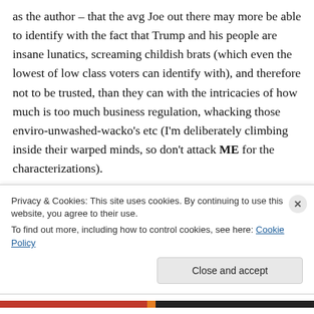as the author – that the avg Joe out there may more be able to identify with the fact that Trump and his people are insane lunatics, screaming childish brats (which even the lowest of low class voters can identify with), and therefore not to be trusted, than they can with the intricacies of how much is too much business regulation, whacking those enviro-unwashed-wacko's etc (I'm deliberately climbing inside their warped minds, so don't attack ME for the characterizations).
Privacy & Cookies: This site uses cookies. By continuing to use this website, you agree to their use. To find out more, including how to control cookies, see here: Cookie Policy
Close and accept